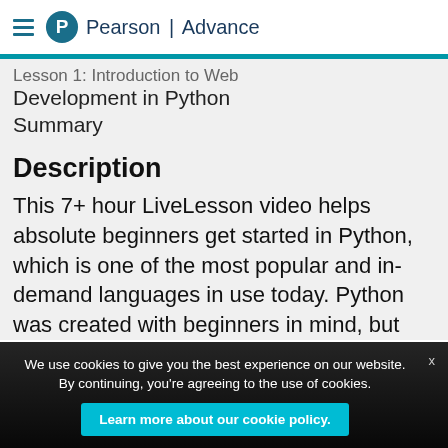Pearson | Advance
Lesson 1: Introduction to Web Development in Python Summary
Description
This 7+ hour LiveLesson video helps absolute beginners get started in Python, which is one of the most popular and in-demand languages in use today. Python was created with beginners in mind, but
We use cookies to give you the best experience on our website. By continuing, you're agreeing to the use of cookies.
Learn more about our cookie policy.